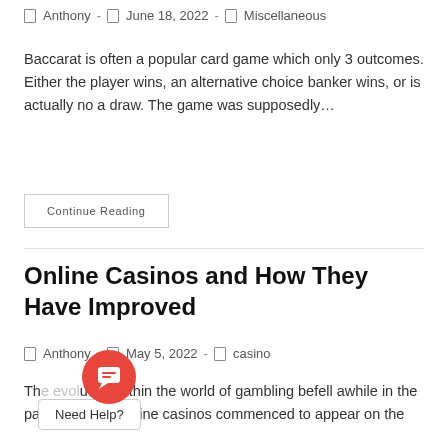Anthony - June 18, 2022 - Miscellaneous
Baccarat is often a popular card game which only 3 outcomes. Either the player wins, an alternative choice banker wins, or is actually no a draw. The game was supposedly…
Continue Reading
Online Casinos and How They Have Improved
Anthony - May 5, 2022 - casino
The evolution within the world of gambling befell awhile in the past while first online casinos commenced to appear on the
[Figure (other): Red circular chat bubble button with message icon, and 'Need Help?' tooltip popup]